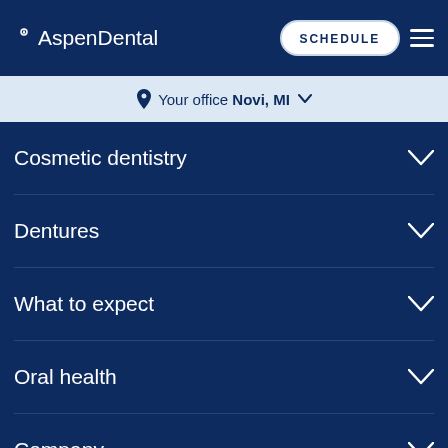AspenDental — SCHEDULE
Your office Novi, MI
Cosmetic dentistry
Dentures
What to expect
Oral health
Company